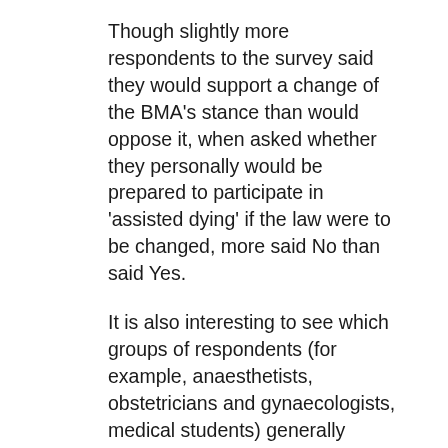Though slightly more respondents to the survey said they would support a change of the BMA's stance than would oppose it, when asked whether they personally would be prepared to participate in 'assisted dying' if the law were to be changed, more said No than said Yes.
It is also interesting to see which groups of respondents (for example, anaesthetists, obstetricians and gynaecologists, medical students) generally supported 'assisted dying' and which ones were generally opposed to it – oncologists, GPs, geriatricians, palliative medicine specialists, all of whom have much more day-to-day contact with terminally-ill patients.
Yet, however the results of the survey are interpreted, there is a fundamental question